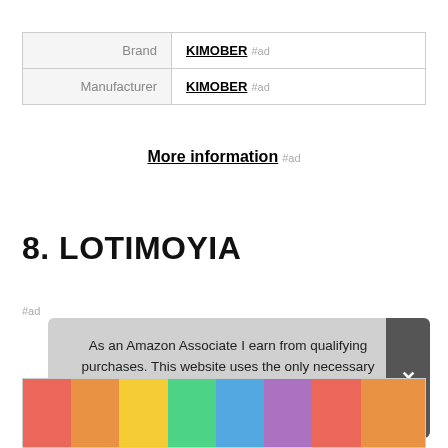|  |  |
| --- | --- |
| Brand | KIMOBER #ad |
| Manufacturer | KIMOBER #ad |
More information #ad
8. LOTIMOYIA
#ad
As an Amazon Associate I earn from qualifying purchases. This website uses the only necessary cookies to ensure you get the best experience on our website. More information
[Figure (photo): Colorful product image strip at bottom of page with rainbow-colored items]